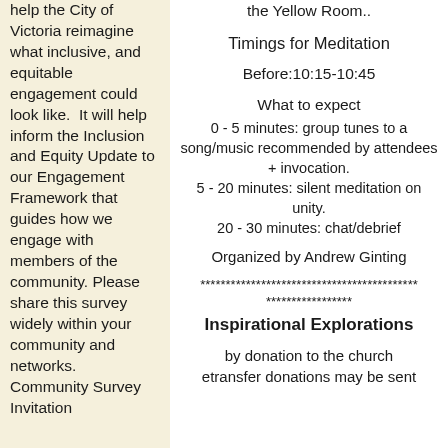help the City of Victoria reimagine what inclusive, and equitable engagement could look like.  It will help inform the Inclusion and Equity Update to our Engagement Framework that guides how we engage with members of the community. Please share this survey widely within your community and networks. Community Survey Invitation
the Yellow Room..
Timings for Meditation
Before:10:15-10:45
What to expect
0 - 5 minutes: group tunes to a song/music recommended by attendees + invocation.
5 - 20 minutes: silent meditation on unity.
20 - 30 minutes: chat/debrief
Organized by Andrew Ginting
************************************* ****************
Inspirational Explorations
by donation to the church etransfer donations may be sent